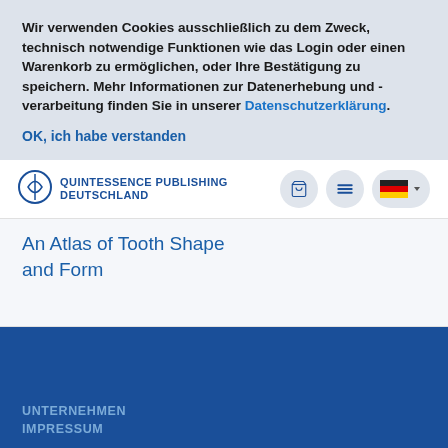Wir verwenden Cookies ausschließlich zu dem Zweck, technisch notwendige Funktionen wie das Login oder einen Warenkorb zu ermöglichen, oder Ihre Bestätigung zu speichern. Mehr Informationen zur Datenerhebung und -verarbeitung finden Sie in unserer Datenschutzerklärung.
OK, ich habe verstanden
[Figure (logo): Quintessence Publishing Deutschland logo with navigation icons (cart, menu, German flag language selector)]
An Atlas of Tooth Shape and Form
UNTERNEHMEN
IMPRESSUM